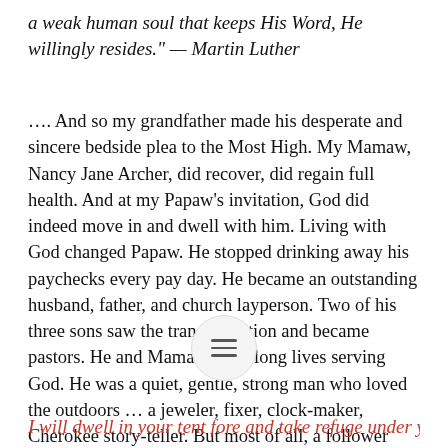a weak human soul that keeps His Word, He willingly resides." — Martin Luther
…. And so my grandfather made his desperate and sincere bedside plea to the Most High. My Mamaw, Nancy Jane Archer, did recover, did regain full health. And at my Papaw's invitation, God did indeed move in and dwell with him. Living with God changed Papaw. He stopped drinking away his paychecks every pay day. He became an outstanding husband, father, and church layperson. Two of his three sons saw the transformation and became pastors. He and Mamaw lived long lives serving God. He was a quiet, gentle, strong man who loved the outdoors … a jeweler, fixer, clock-maker, Cherokee story-teller. But most of all, a follower after God. Papaw Archer is the man my dad most respects. And that says a lot.
[Figure (other): Hamburger menu icon inside a light circular button]
I will dwell in your tent fore… and take refuge under your